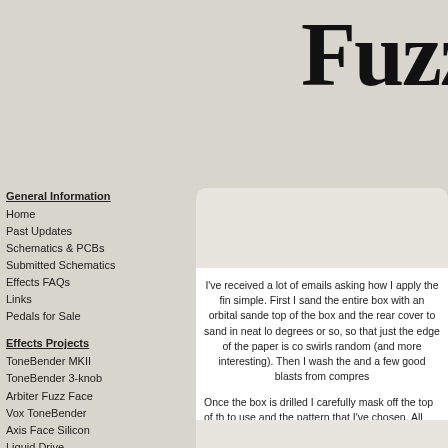Fuzz
General Information
Home
Past Updates
Schematics & PCBs
Submitted Schematics
Effects FAQs
Links
Pedals for Sale
Effects Projects
ToneBender MKII
ToneBender 3-knob
Arbiter Fuzz Face
Vox ToneBender
Axis Face Silicon
Liquid Drive
Tycobrahe Octavia
Ampeg Scrambler
fOXX Tone Machine
Fender Blender
Dallas Rangemaster
I've received a lot of emails asking how I apply the fin simple. First I sand the entire box with an orbital sande top of the box and the rear cover to sand in neat lo degrees or so, so that just the edge of the paper is co swirls random (and more interesting). Then I wash the and a few good blasts from compres
Once the box is drilled I carefully mask off the top of th to use and the pattern that I've chosen. All the paint th be baked on. After the painting is done I use the laser p more c